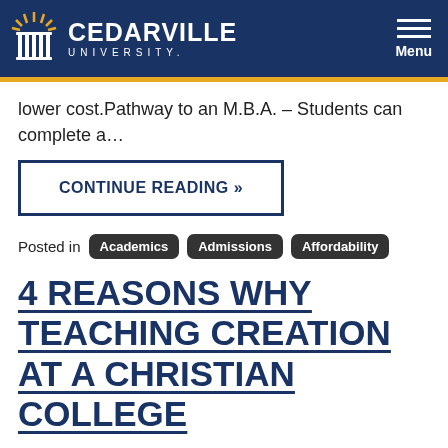CEDARVILLE UNIVERSITY — Menu
lower cost.Pathway to an M.B.A. – Students can complete a…
CONTINUE READING »
Posted in  Academics  Admissions  Affordability
4 REASONS WHY TEACHING CREATION AT A CHRISTIAN COLLEGE